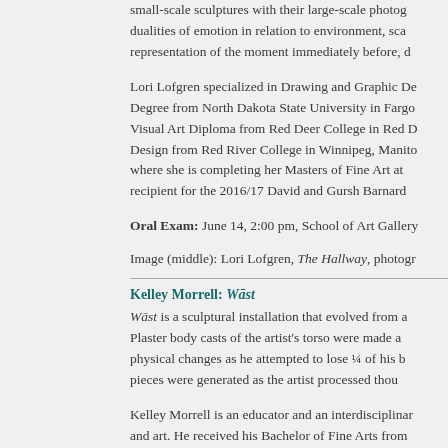small-scale sculptures with their large-scale photographs, exploring dualities of emotion in relation to environment, scale and representation of the moment immediately before, c…
Lori Lofgren specialized in Drawing and Graphic Design, receiving her Degree from North Dakota State University in Fargo. She holds a Visual Art Diploma from Red Deer College in Red Deer, AB, Graphic Design from Red River College in Winnipeg, Manitoba. Currently, where she is completing her Masters of Fine Art at … She is the recipient for the 2016/17 David and Gursh Barnard…
Oral Exam: June 14, 2:00 pm, School of Art Gallery…
Image (middle): Lori Lofgren, The Hallway, photogr…
Kelley Morrell: Wāst
Wāst is a sculptural installation that evolved from a… Plaster body casts of the artist's torso were made a… physical changes as he attempted to lose ¼ of his b… pieces were generated as the artist processed thou…
Kelley Morrell is an educator and an interdisciplinar… and art. He received his Bachelor of Fine Arts from… Education at Lakehead University and is currently c… University of Manitoba. He recently returned from N… mentorship with monumental landscape artist Chris… featured in the Wharepuke Sculpture Park in Kerike…